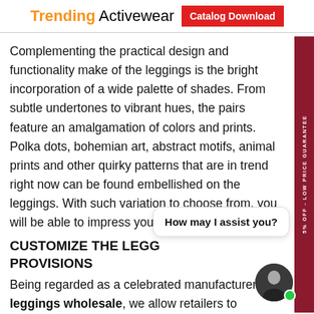Trending Activewear | Catalog Download
Complementing the practical design and functionality make of the leggings is the bright incorporation of a wide palette of shades. From subtle undertones to vibrant hues, the pairs feature an amalgamation of colors and prints. Polka dots, bohemian art, abstract motifs, animal prints and other quirky patterns that are in trend right now can be found embellished on the leggings. With such variation to choose from, you will be able to impress your customers at large.
CUSTOMIZE THE LEGG... PROVISIONS
Being regarded as a celebrated manufacturer of ... leggings wholesale, we allow retailers to customize the products and add your own designs to the pieces